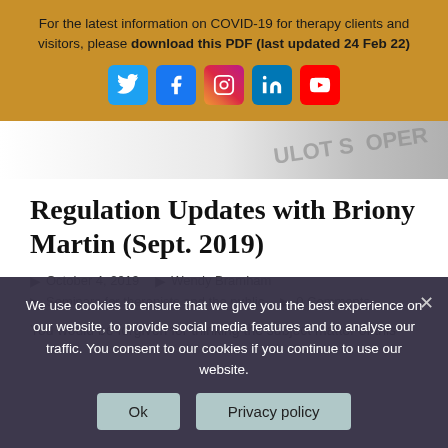For the latest information on COVID-19 for therapy clients and visitors, please download this PDF (last updated 24 Feb 22)
[Figure (screenshot): Social media icons: Twitter, Facebook, Instagram, LinkedIn, YouTube]
[Figure (photo): Partial hero image showing blurred text]
Regulation Updates with Briony Martin (Sept. 2019)
October 4, 2019   Wendy Bramham
Seminars for therapists and the public   0 Comments
You would be forgiven for thinking the subject matter of this
We use cookies to ensure that we give you the best experience on our website, to provide social media features and to analyse our traffic. You consent to our cookies if you continue to use our website.
Ok   Privacy policy